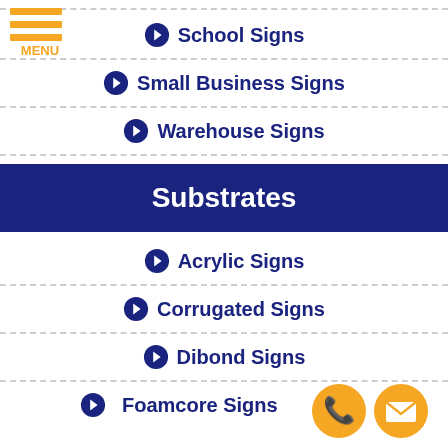[Figure (infographic): Orange hamburger menu icon with three horizontal bars and 'MENU' label]
School Signs
Small Business Signs
Warehouse Signs
Substrates
Acrylic Signs
Corrugated Signs
Dibond Signs
Foamcore Signs
[Figure (infographic): Orange phone button circle and orange email envelope circle at bottom right]